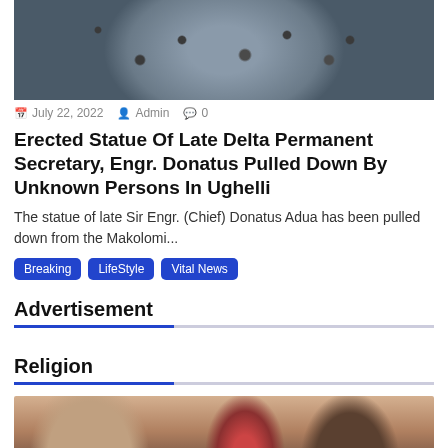[Figure (photo): Top of a statue or decorated metallic head/mask]
July 22, 2022  Admin  0
Erected Statue Of Late Delta Permanent Secretary, Engr. Donatus Pulled Down By Unknown Persons In Ughelli
The statue of late Sir Engr. (Chief) Donatus Adua has been pulled down from the Makolomi...
Breaking
LifeStyle
Vital News
Advertisement
Religion
[Figure (photo): People gathered, possibly at a religious or community event; a person in a red cap is visible in the background]